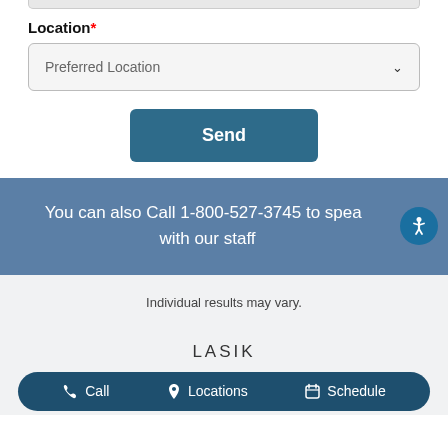Location*
[Figure (screenshot): Dropdown select input labeled 'Preferred Location' with a chevron arrow]
[Figure (screenshot): Blue 'Send' button]
You can also Call 1-800-527-3745 to speak with our staff
Individual results may vary.
LASIK
[Figure (screenshot): Bottom navigation bar with Call, Locations, and Schedule buttons]